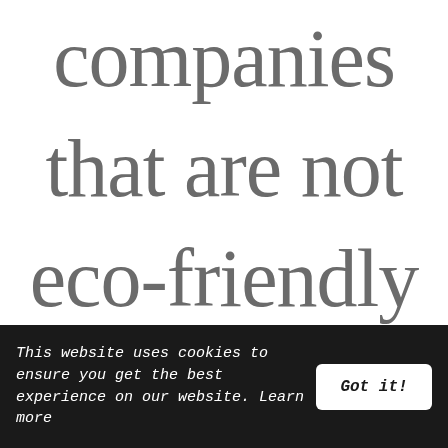companies that are not eco-friendly often harm animals and
This website uses cookies to ensure you get the best experience on our website. Learn more   Got it!